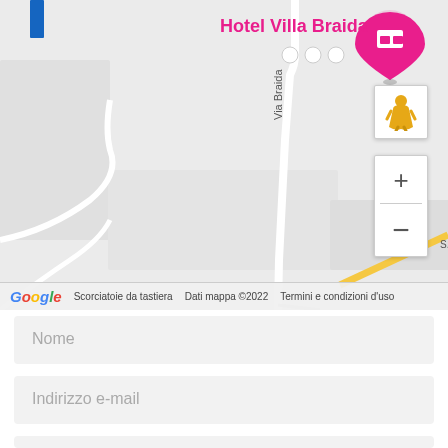[Figure (map): Google Maps screenshot showing Hotel Villa Braida location on Via Braida, with street map, zoom controls, pegman icon, and Google Maps attribution bar showing 'Scorciatoie da tastiera', 'Dati mappa ©2022', 'Termini e condizioni d'uso']
Nome
Indirizzo e-mail
Messaggio